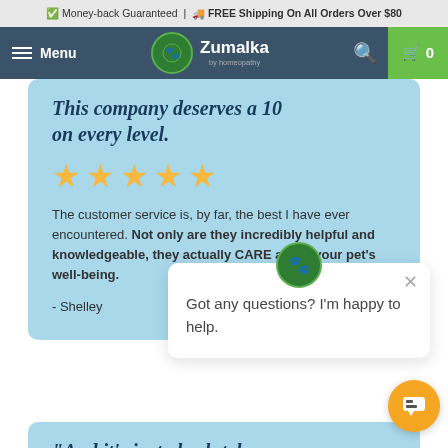Money-back Guaranteed | FREE Shipping On All Orders Over $80
Menu | Zumalka | 0
This company deserves a 10 on every level.
[Figure (other): Five gold star rating icons]
The customer service is, by far, the best I have ever encountered. Not only are they incredibly helpful and knowledgeable, they actually CARE about your pet's well-being.
- Shelley
Got any questions? I'm happy to help.
"And it's just absolutely